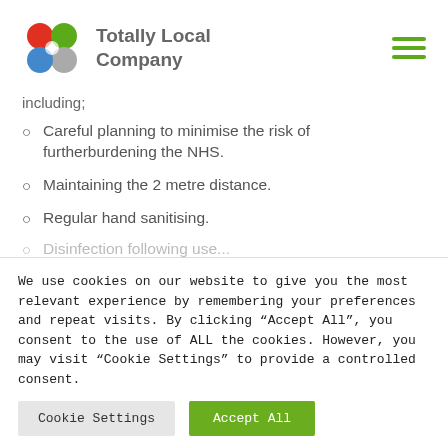[Figure (logo): Totally Local Company logo with coloured petal shapes and grey/green text]
including;
Careful planning to minimise the risk of furtherburdening the NHS.
Maintaining the 2 metre distance.
Regular hand sanitising.
Disinfection following use...
We use cookies on our website to give you the most relevant experience by remembering your preferences and repeat visits. By clicking “Accept All”, you consent to the use of ALL the cookies. However, you may visit "Cookie Settings" to provide a controlled consent.